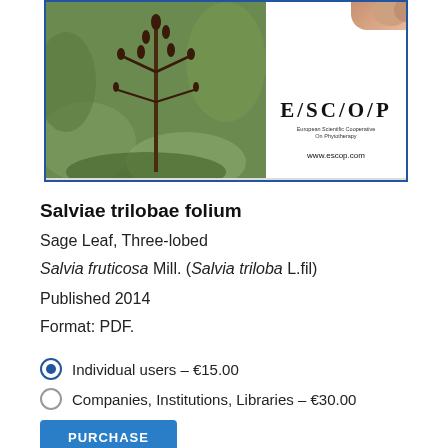[Figure (photo): Book cover image showing a plant with dark stems and buds against a green background, alongside the ESCOP logo panel with text 'European Scientific Cooperative On Phytotherapy' and 'www.escop.com', with a finger partially visible at top right]
Salviae trilobae folium
Sage Leaf, Three-lobed
Salvia fruticosa Mill. (Salvia triloba L.fil)
Published 2014
Format: PDF.
Individual users – €15.00
Companies, Institutions, Libraries – €30.00
PURCHASE